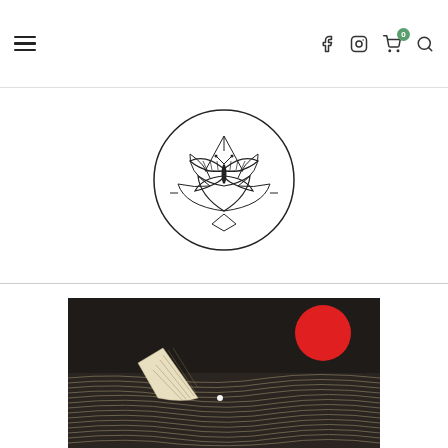Navigation header with hamburger menu, Facebook, Instagram, cart (0), and search icons
[Figure (logo): Circular logo with a butterfly and lotus geometric design in black ink on white background]
[Figure (photo): Dark atmospheric artwork showing a white sail or leaf shape, red circle (sun/moon) in upper right, and parallel white lines forming wave-like terrain on a dark background]